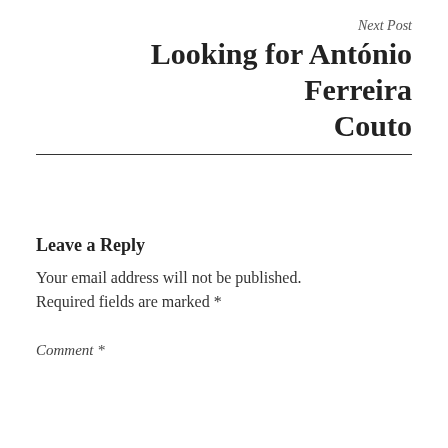Next Post
Looking for António Ferreira Couto
Leave a Reply
Your email address will not be published. Required fields are marked *
Comment *